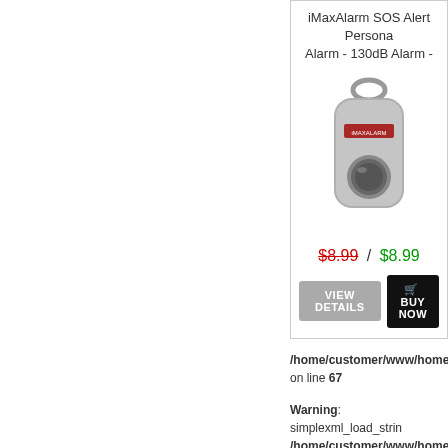iMaxAlarm SOS Alert Personal Alarm - 130dB Alarm -
[Figure (photo): Photo of iMaxAlarm SOS Alert Personal Alarm device, a silver keychain-style personal safety alarm]
$8.99 / $8.99
VIEW DETAILS  🛒 BUY NOW
/home/customer/www/homet on line 67
Warning: simplexml_load_strin /home/customer/www/homet on line 67
Warning: simplexml_load_strin